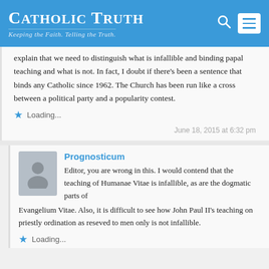Catholic Truth — Keeping the Faith. Telling the Truth.
explain that we need to distinguish what is infallible and binding papal teaching and what is not. In fact, I doubt if there's been a sentence that binds any Catholic since 1962. The Church has been run like a cross between a political party and a popularity contest.
Loading...
June 18, 2015 at 6:32 pm
Prognosticum
Editor, you are wrong in this. I would contend that the teaching of Humanae Vitae is infallible, as are the dogmatic parts of Evangelium Vitae. Also, it is difficult to see how John Paul II's teaching on priestly ordination as reseved to men only is not infallible.
Loading...